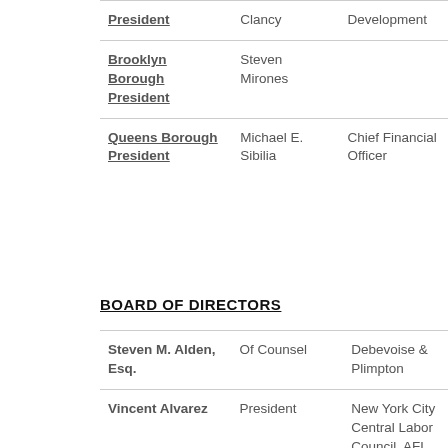| Role | Name | Title |
| --- | --- | --- |
| President | Clancy | Development |
| Brooklyn Borough President | Steven Mirones |  |
| Queens Borough President | Michael E. Sibilia | Chief Financial Officer |
BOARD OF DIRECTORS
| Name | Role | Organization |
| --- | --- | --- |
| Steven M. Alden, Esq. | Of Counsel | Debevoise & Plimpton |
| Vincent Alvarez | President | New York City Central Labor Council, AFL |